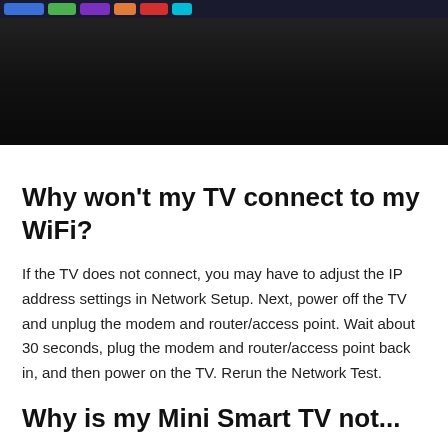[Figure (screenshot): Dark television screen showing a TV interface with colored navigation pills in the top bar (blue, green, purple, orange, red, cyan) and a mostly black/dark screen area below.]
Why won't my TV connect to my WiFi?
If the TV does not connect, you may have to adjust the IP address settings in Network Setup. Next, power off the TV and unplug the modem and router/access point. Wait about 30 seconds, plug the modem and router/access point back in, and then power on the TV. Rerun the Network Test.
Why is my Mini Smart TV not...